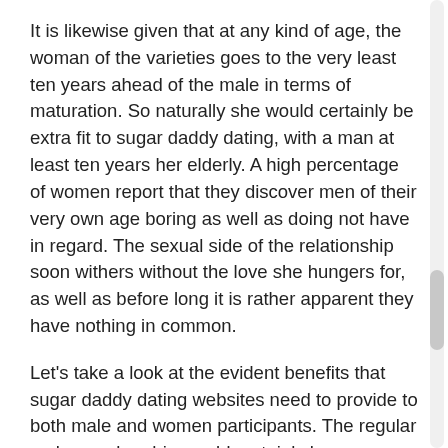It is likewise given that at any kind of age, the woman of the varieties goes to the very least ten years ahead of the male in terms of maturation. So naturally she would certainly be extra fit to sugar daddy dating, with a man at least ten years her elderly. A high percentage of women report that they discover men of their very own age boring as well as doing not have in regard. The sexual side of the relationship soon withers without the love she hungers for, as well as before long it is rather apparent they have nothing in common.
Let's take a look at the evident benefits that sugar daddy dating websites need to provide to both male and women participants. The regular male membership would certainly be composed predominately of affluent and also successful men that enjoy the firm of a younger woman, and also have the need to like and shield their companion. The male who signs up with a sugar daddy dating website is normally thoughtful, caring, charming yet dynamic. He will appreciate his look as well as problem and also enjoy a good quality of